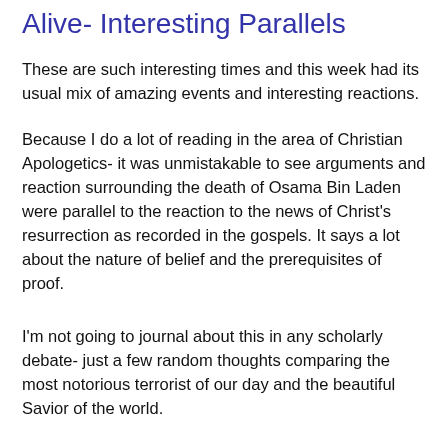Alive- Interesting Parallels
These are such interesting times and this week had its usual mix of amazing events and interesting reactions.
Because I do a lot of reading in the area of Christian Apologetics- it was unmistakable to see arguments and reaction surrounding the death of Osama Bin Laden were parallel to the reaction to the news of Christ's resurrection as recorded in the gospels. It says a lot about the nature of belief and the prerequisites of proof.
I'm not going to journal about this in any scholarly debate- just a few random thoughts comparing the most notorious terrorist of our day and the beautiful Savior of the world.
#1 The ideologues are more willing to 'disbelieve' and almost impossible to convince.